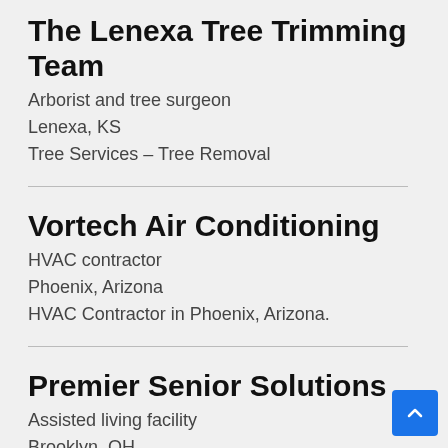The Lenexa Tree Trimming Team
Arborist and tree surgeon
Lenexa, KS
Tree Services – Tree Removal
Vortech Air Conditioning
HVAC contractor
Phoenix, Arizona
HVAC Contractor in Phoenix, Arizona.
Premier Senior Solutions
Assisted living facility
Brooklyn, OH